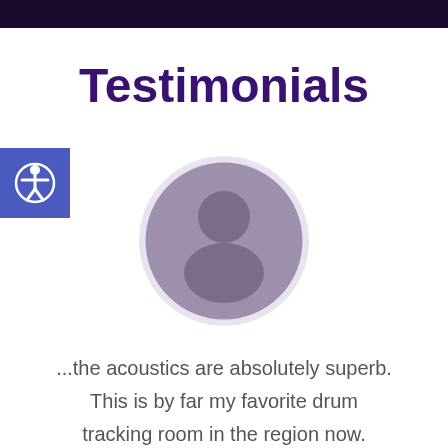Testimonials
[Figure (illustration): Circular avatar placeholder with a generic person silhouette in muted purple/lavender tones on a light gray circle background]
...the acoustics are absolutely superb. This is by far my favorite drum tracking room in the region now.